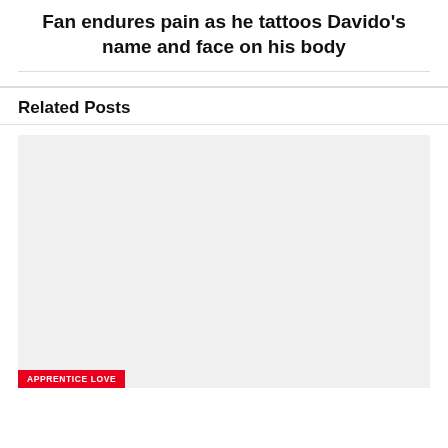Fan endures pain as he tattoos Davido's name and face on his body
Related Posts
[Figure (photo): Placeholder image for a related post about Apprentice Love]
APPRENTICE LOVE